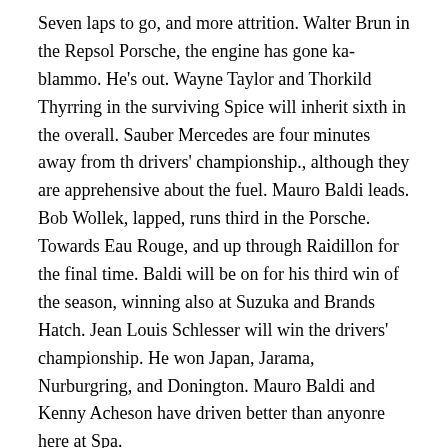Seven laps to go, and more attrition. Walter Brun in the Repsol Porsche, the engine has gone ka-blammo. He's out. Wayne Taylor and Thorkild Thyrring in the surviving Spice will inherit sixth in the overall. Sauber Mercedes are four minutes away from th drivers' championship., although they are apprehensive about the fuel. Mauro Baldi leads. Bob Wollek, lapped, runs third in the Porsche. Towards Eau Rouge, and up through Raidillon for the final time. Baldi will be on for his third win of the season, winning also at Suzuka and Brands Hatch. Jean Louis Schlesser will win the drivers' championship. He won Japan, Jarama, Nurburgring, and Donington. Mauro Baldi and Kenny Acheson have driven better than anyonre here at Spa.
Bob Wollek unlaps himself and has to do one more lap. But Baldi and Acheson win Spa. Max Walti is